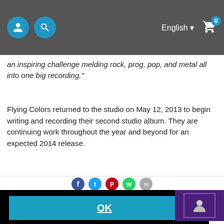Navigation bar with user icon, search icon, English language selector, and shopping cart with 0 items
an inspiring challenge melding rock, prog, pop, and metal all into one big recording."
Flying Colors returned to the studio on May 12, 2013 to begin writing and recording their second studio album. They are continuing work throughout the year and beyond for an expected 2014 release.
[Figure (infographic): Social share buttons row: Facebook (blue), Twitter (blue), Pinterest (red), WhatsApp (green), email (gray)]
We care about your privacy and do not use tracking cookies. This website uses essential cookies only.  Learn more
[Figure (photo): Purple square image partially visible on right side]